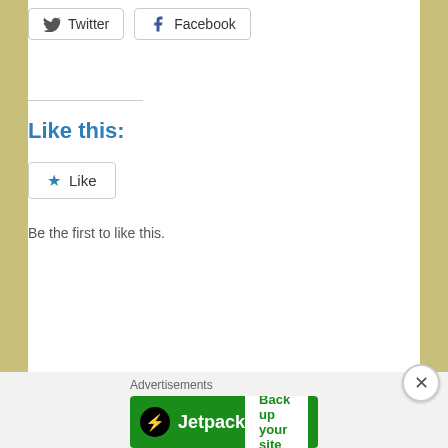[Figure (screenshot): Social share buttons: Twitter and Facebook]
Like this:
[Figure (screenshot): Like button with star icon]
Be the first to like this.
[Figure (photo): Outdoor winter scene with overcast sky, a figure in the distance, power lines, and dark trees on the right side]
Advertisements
[Figure (screenshot): Jetpack advertisement banner with 'Back up your site' button]